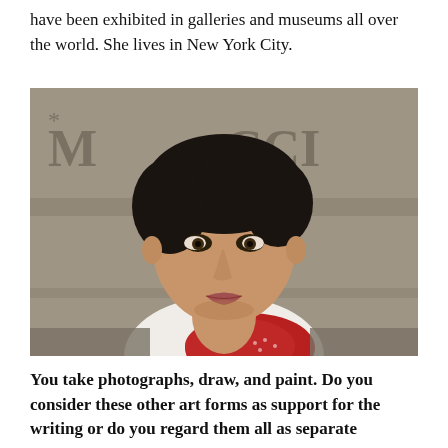have been exhibited in galleries and museums all over the world. She lives in New York City.
[Figure (photo): Portrait photograph of a woman with short curly dark hair, wearing a red patterned scarf and white top, standing in front of a stone wall with partial text visible]
You take photographs, draw, and paint. Do you consider these other art forms as support for the writing or do you regard them all as separate